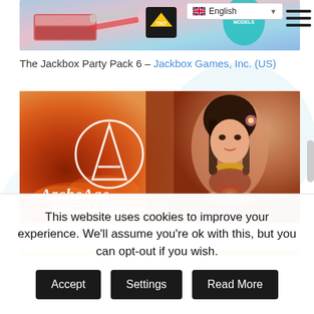[Figure (screenshot): Top game banner image for The Jackbox Party Pack 6 showing colorful game artwork with TNT logo and Role Models text]
The Jackbox Party Pack 6 – Jackbox Games, Inc. (US)
[Figure (photo): ArcheAge: Unchained game banner showing a fantasy female character holding a glowing orb with the ArcheAge Unchained logo on a fiery background]
ArcheAge: Unchained – XLGAMES (South Korea)
This website uses cookies to improve your experience. We'll assume you're ok with this, but you can opt-out if you wish.